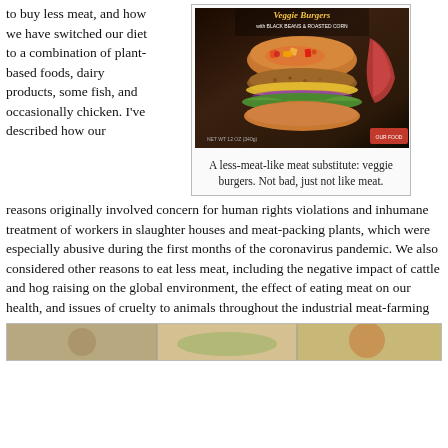to buy less meat, and how we have switched our diet to a combination of plant-based foods, dairy products, some fish, and occasionally chicken. I've described how our reasons originally involved concern for human rights violations and inhumane treatment of workers in slaughter houses and meat-packing plants, which were especially abusive during the first months of the coronavirus pandemic. We also considered other reasons to eat less meat, including the negative impact of cattle and hog raising on the global environment, the effect of eating meat on our health, and issues of cruelty to animals throughout the industrial meat-farming and slaughtering process. Switching to imitation meat addresses most of these problems.
[Figure (photo): Package of veggie burgers with black beans and roasted corn, showing a veggie burger patty topped with colorful salsa]
A less-meat-like meat substitute: veggie burgers. Not bad, just not like meat.
[Figure (photo): Partial image at bottom of page showing food items]